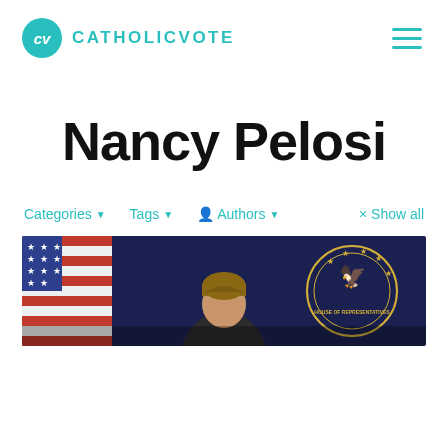CATHOLICVOTE
Nancy Pelosi
Categories ▼   Tags ▼   👤 Authors ▼   × Show all
[Figure (photo): Photo of Nancy Pelosi at a podium with American flags and official seal in the background]